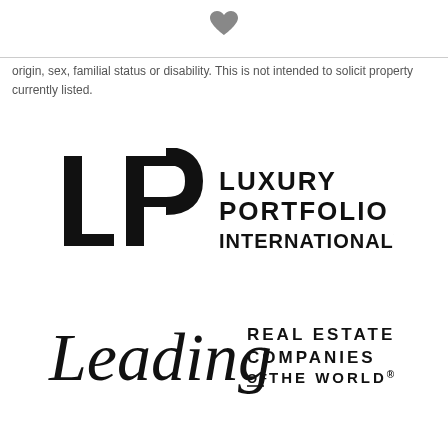[Figure (illustration): Small gray heart icon centered at top of page]
origin, sex, familial status or disability. This is not intended to solicit property currently listed.
[Figure (logo): Luxury Portfolio International logo with LP monogram and bold sans-serif text]
[Figure (logo): Leading Real Estate Companies of the World logo with script 'Leading' and serif text]